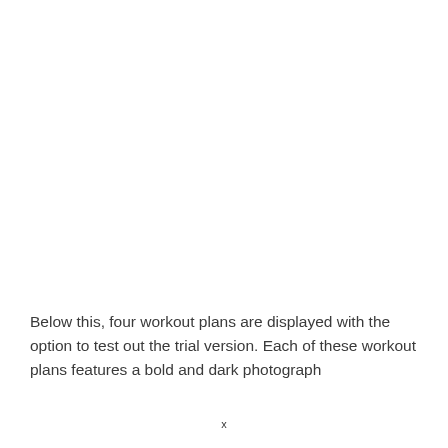Below this, four workout plans are displayed with the option to test out the trial version. Each of these workout plans features a bold and dark photograph
x